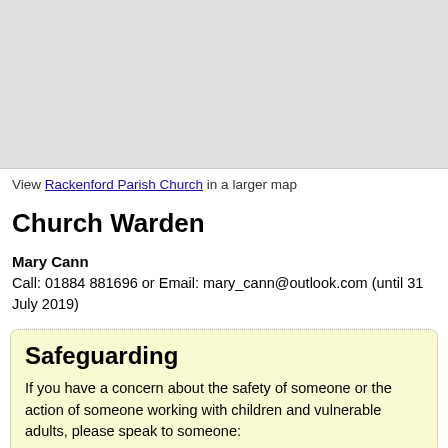[Figure (map): Embedded map showing Rackenford Parish Church location, grey background placeholder]
View Rackenford Parish Church in a larger map
Church Warden
Mary Cann
Call: 01884 881696 or Email: mary_cann@outlook.com (until 31 July 2019)
Safeguarding
If you have a concern about the safety of someone or the action of someone working with children and vulnerable adults, please speak to someone: